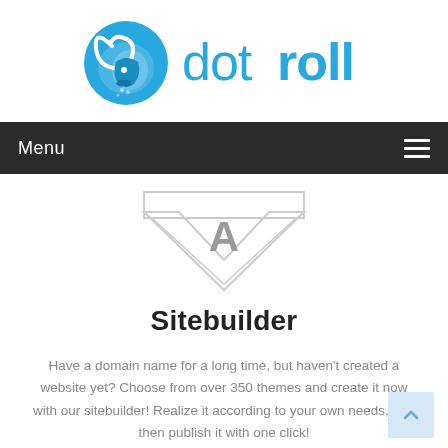[Figure (logo): dotroll logo — blue ram head icon with 'dot' in regular weight and 'roll' in bold, all in blue]
Menu
[Figure (illustration): Large gray downward-pointing chevron/diamond shape with a bold letter A in the center]
Sitebuilder
Have a domain name for a long time, but haven't created a website yet? Choose from over 350 themes and create it now with our sitebuilder! Realize it according to your own needs, and then publish it with one click!